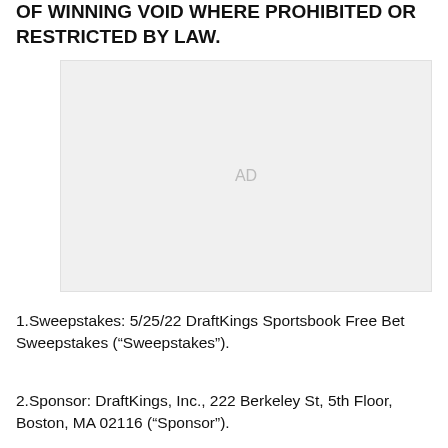OF WINNING VOID WHERE PROHIBITED OR RESTRICTED BY LAW.
[Figure (other): Advertisement placeholder box with 'AD' label in light gray]
1.Sweepstakes: 5/25/22 DraftKings Sportsbook Free Bet Sweepstakes (“Sweepstakes”).
2.Sponsor: DraftKings, Inc., 222 Berkeley St, 5th Floor, Boston, MA 02116 (“Sponsor”).